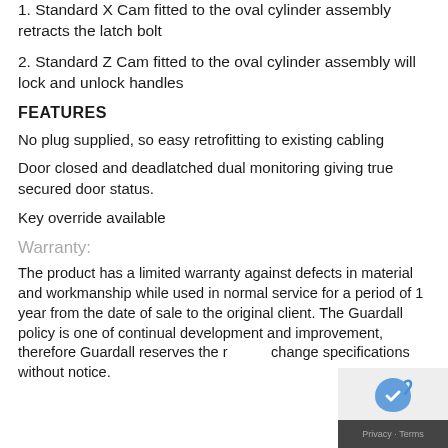1. Standard X Cam fitted to the oval cylinder assembly retracts the latch bolt
2. Standard Z Cam fitted to the oval cylinder assembly will lock and unlock handles
FEATURES
No plug supplied, so easy retrofitting to existing cabling
Door closed and deadlatched dual monitoring giving true secured door status.
Key override available
Warranty:
The product has a limited warranty against defects in material and workmanship while used in normal service for a period of 1 year from the date of sale to the original client. The Guardall policy is one of continual development and improvement, therefore Guardall reserves the right to change specifications without notice.